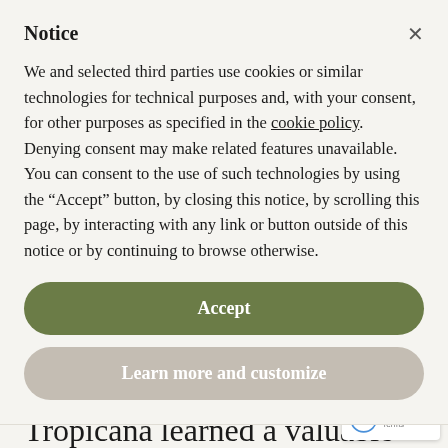Notice
We and selected third parties use cookies or similar technologies for technical purposes and, with your consent, for other purposes as specified in the cookie policy. Denying consent may make related features unavailable.
You can consent to the use of such technologies by using the “Accept” button, by closing this notice, by scrolling this page, by interacting with any link or button outside of this notice or by continuing to browse otherwise.
Accept
Learn more and customize
quickly enough.
Tropicana learned a valuable lesson that month: just because you have a